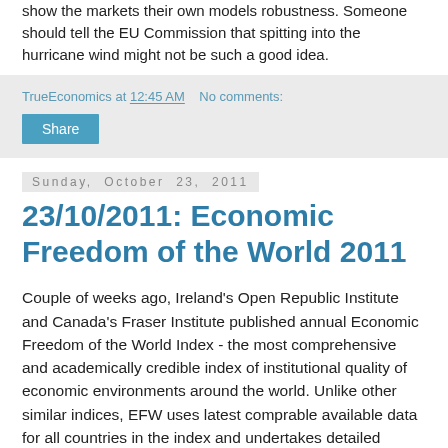show the markets their own models robustness. Someone should tell the EU Commission that spitting into the hurricane wind might not be such a good idea.
TrueEconomics at 12:45 AM   No comments:
Share
Sunday, October 23, 2011
23/10/2011: Economic Freedom of the World 2011
Couple of weeks ago, Ireland's Open Republic Institute and Canada's Fraser Institute published annual Economic Freedom of the World Index - the most comprehensive and academically credible index of institutional quality of economic environments around the world. Unlike other similar indices, EFW uses latest comprable available data for all countries in the index and undertakes detailed assessment of the largest number of criteria in arriving at its final rankings.